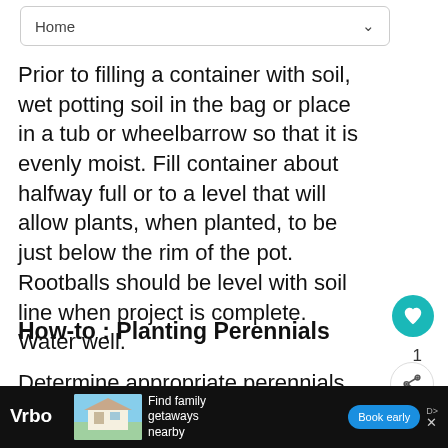Home
Prior to filling a container with soil, wet potting soil in the bag or place in a tub or wheelbarrow so that it is evenly moist. Fill container about halfway full or to a level that will allow plants, when planted, to be just below the rim of the pot. Rootballs should be level with soil line when project is complete. Water well.
How-to : Planting Perennials
Determine appropriate perennials for garden by considering sun and shade through the day, exposure, water requirements, cli... s ...d,
[Figure (screenshot): What's Next promo card showing 'Deutzia Garden Plan...' with a plant image]
[Figure (screenshot): Vrbo advertisement banner: 'Find family getaways nearby' with Book early button]